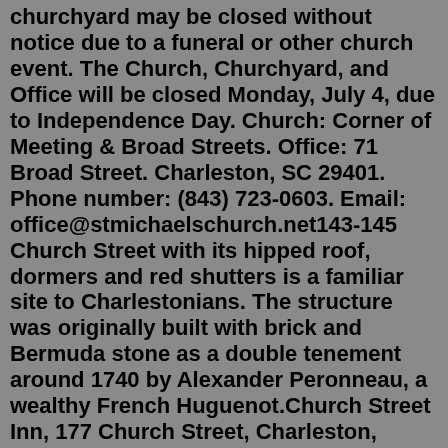churchyard may be closed without notice due to a funeral or other church event. The Church, Churchyard, and Office will be closed Monday, July 4, due to Independence Day. Church: Corner of Meeting & Broad Streets. Office: 71 Broad Street. Charleston, SC 29401. Phone number: (843) 723-0603. Email: office@stmichaelschurch.net143-145 Church Street with its hipped roof, dormers and red shutters is a familiar site to Charlestonians. The structure was originally built with brick and Bermuda stone as a double tenement around 1740 by Alexander Peronneau, a wealthy French Huguenot.Church Street Inn, 177 Church Street, Charleston, South Carolina, 29401, United States Located at the corner of Church and Market Streets where Charleston's famed market area hums with activity, Church Street Inn and its plush one- and two-bedroom town homes are elegantly designed in a style reminiscent of a time gone by.Greek Orthodox Church of the Holy Trinity - Charleston, SC. Greek Orthodox Church of the Holy Trinity - Charleston,